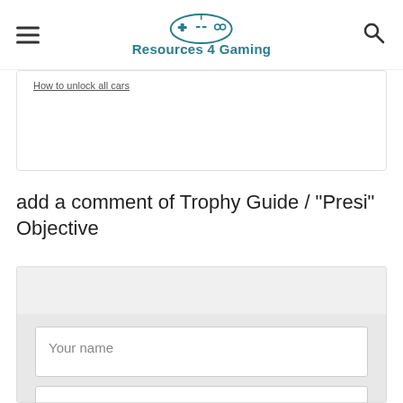Resources 4 Gaming
[Figure (screenshot): Partially visible card with text 'How to unlock all cars' (cut off at top)]
add a comment of Trophy Guide / "Presi" Objective
[Figure (screenshot): Comment form with 'Your name' input field and partially visible second input field]